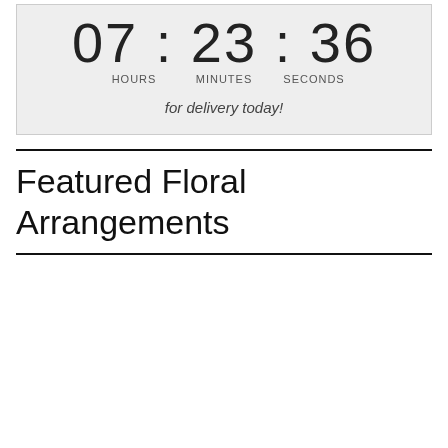[Figure (infographic): Countdown timer showing 07:23:36 with labels HOURS, MINUTES, SECONDS and text 'for delivery today!']
Featured Floral Arrangements